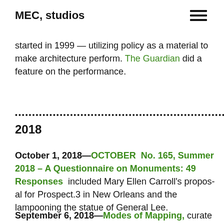MEC, studios
started in 1999 — utilizing policy as a material to make architecture perform. The Guardian did a feature on the performance.
2018
October 1, 2018—OCTOBER  No. 165, Summer 2018 – A Questionnaire on Monuments: 49 Responses  included Mary Ellen Carroll's proposal for Prospect.3 in New Orleans and the lampooning the statue of General Lee.
September 6, 2018—Modes of Mapping, curated